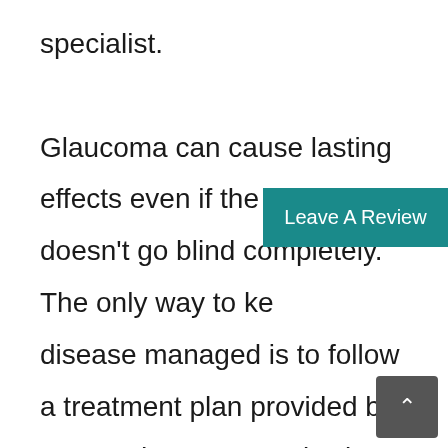specialist. Glaucoma can cause lasting effects even if the person doesn't go blind completely. The only way to keep the disease managed is to follow a treatment plan provided by an eye doctor. By reviewing how to recognize and treat glaucoma, seniors know when to seek help.
[Figure (other): Teal button overlay reading 'Leave A Review']
[Figure (other): Dark grey scroll-to-top button with upward chevron arrow]